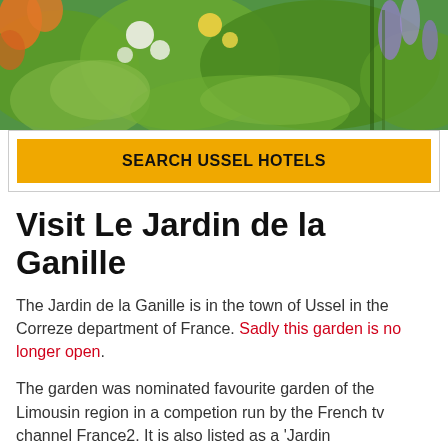[Figure (photo): Colourful garden flowers in bloom with green foliage, orange and yellow flowers visible]
SEARCH USSEL HOTELS
Visit Le Jardin de la Ganille
The Jardin de la Ganille is in the town of Ussel in the Correze department of France. Sadly this garden is no longer open.
The garden was nominated favourite garden of the Limousin region in a competion run by the French tv channel France2. It is also listed as a 'Jardin Remarquable'